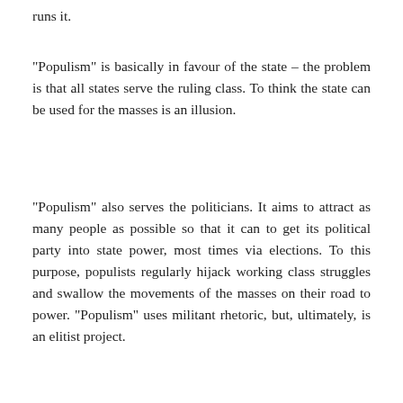runs it.
“Populism” is basically in favour of the state – the problem is that all states serve the ruling class. To think the state can be used for the masses is an illusion.
“Populism” also serves the politicians. It aims to attract as many people as possible so that it can to get its political party into state power, most times via elections. To this purpose, populists regularly hijack working class struggles and swallow the movements of the masses on their road to power. “Populism” uses militant rhetoric, but, ultimately, is an elitist project.